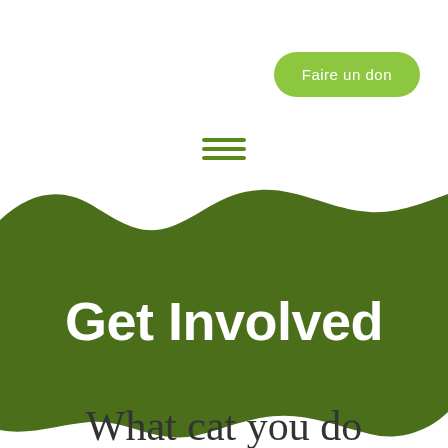Faire un don
[Figure (illustration): Hamburger menu icon with three green horizontal lines]
[Figure (illustration): Dark olive green wavy banner background spanning full width]
Get Involved
What cat you do